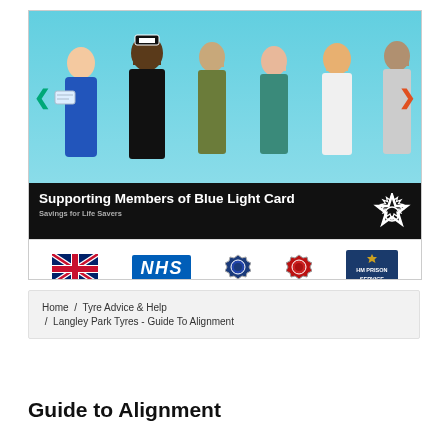[Figure (illustration): Blue Light Card banner showing illustrated emergency services workers (nurse, police officer, soldier, paramedic, doctor, prison officer) on blue background with navigation arrows. Black lower section reads 'Supporting Members of Blue Light Card' and 'Savings for Life Savers' with a star badge. Logo bar shows UK flag, NHS logo, police badge, red badge, HM Prison Service logo.]
Home / Tyre Advice & Help / Langley Park Tyres - Guide To Alignment
Guide to Alignment